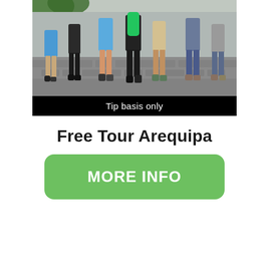[Figure (photo): Group of tourists/tour participants standing on a cobblestone street, several wearing blue shirts, one with a green backpack. Photo taken from waist-down perspective showing legs and feet.]
Tip basis only
Free Tour Arequipa
MORE INFO